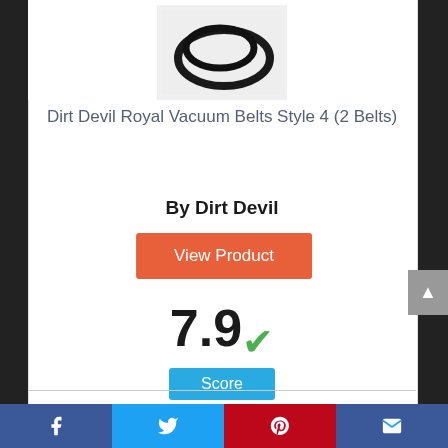[Figure (photo): Product photo of Dirt Devil Royal Vacuum Belts Style 4 (2 Belts) - two black rubber belts on white background]
Dirt Devil Royal Vacuum Belts Style 4 (2 Belts)
By Dirt Devil
View Product
7.9 ✓
Score